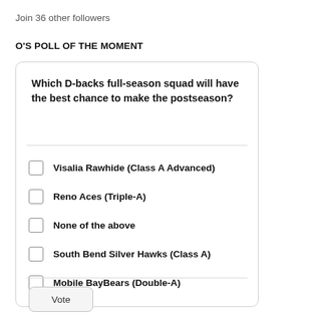Join 36 other followers
O'S POLL OF THE MOMENT
Which D-backs full-season squad will have the best chance to make the postseason?
Visalia Rawhide (Class A Advanced)
Reno Aces (Triple-A)
None of the above
South Bend Silver Hawks (Class A)
Mobile BayBears (Double-A)
Vote